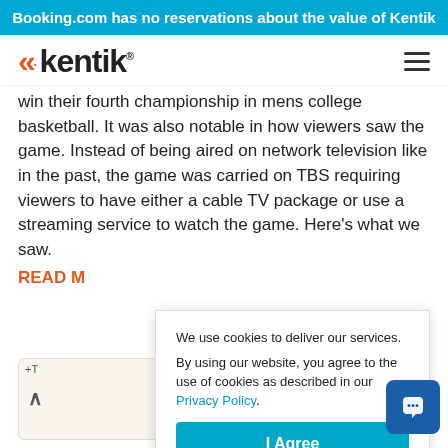Booking.com has no reservations about the value of Kentik
[Figure (logo): Kentik logo with orange chevrons and wordmark]
win their fourth championship in mens college basketball. It was also notable in how viewers saw the game. Instead of being aired on network television like in the past, the game was carried on TBS requiring viewers to have either a cable TV package or use a streaming service to watch the game. Here's what we saw.
READ M
We use cookies to deliver our services.
By using our website, you agree to the use of cookies as described in our Privacy Policy.
I Agree